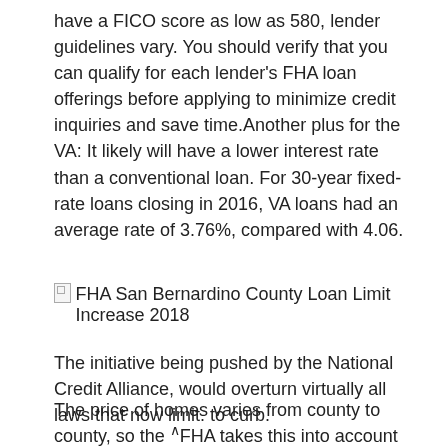have a FICO score as low as 580, lender guidelines vary. You should verify that you can qualify for each lender's FHA loan offerings before applying to minimize credit inquiries and save time.Another plus for the VA: It likely will have a lower interest rate than a conventional loan. For 30-year fixed-rate loans closing in 2016, VA loans had an average rate of 3.76%, compared with 4.06.
[Figure (photo): Broken image placeholder with alt text: FHA San Bernardino County Loan Limit Increase 2018]
FHA San Bernardino County Loan Limit Increase 2018
The initiative being pushed by the National Credit Alliance, would overturn virtually all laws that now limit. to curb.
The price of homes varies from county to county, so the FHA takes this into account when it sets its county loan limits. For example, the FHA loan limit for New york